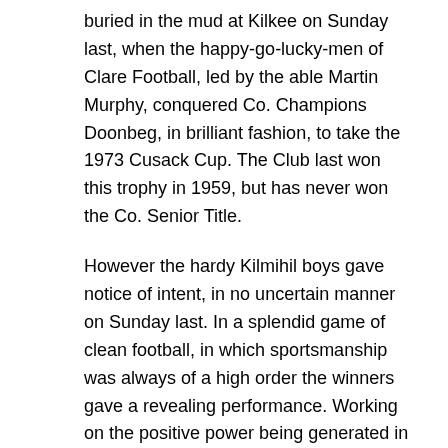buried in the mud at Kilkee on Sunday last, when the happy-go-lucky-men of Clare Football, led by the able Martin Murphy, conquered Co. Champions Doonbeg, in brilliant fashion, to take the 1973 Cusack Cup. The Club last won this trophy in 1959, but has never won the Co. Senior Title.
However the hardy Kilmihil boys gave notice of intent, in no uncertain manner on Sunday last. In a splendid game of clean football, in which sportsmanship was always of a high order the winners gave a revealing performance. Working on the positive power being generated in its highly talented half-back and mid-field sections, the team tackled the task on hand with rare abandon. Gone was the indecisiveness and fumbling that characterised their loss in the 1972 Cup Final to the same opponents on the same pitch some weeks ago. On this occasion, strong concentrated action by a busy and resourceful forward section finally wore down the defensive power of